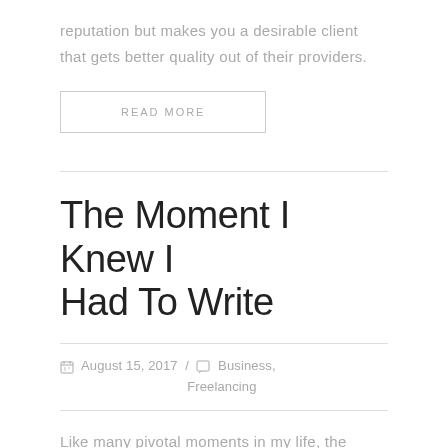reputation but makes you a desirable client that gets better quality out of their providers.
READ MORE
The Moment I Knew I Had To Write
August 15, 2017  /  Business, Freelancing
Like many pivotal moments in my life, the